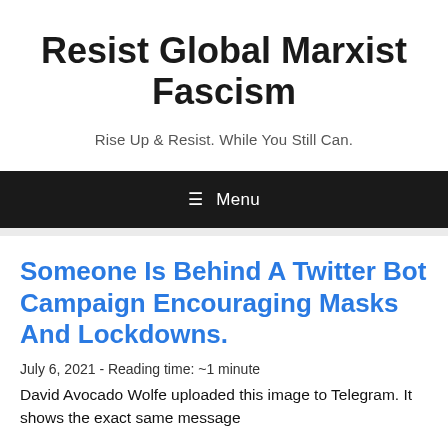Resist Global Marxist Fascism
Rise Up & Resist. While You Still Can.
≡ Menu
Someone Is Behind A Twitter Bot Campaign Encouraging Masks And Lockdowns.
July 6, 2021 - Reading time: ~1 minute
David Avocado Wolfe uploaded this image to Telegram. It shows the exact same message